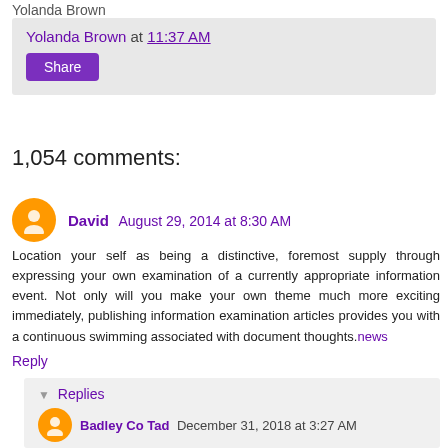Yolanda Brown
Yolanda Brown at 11:37 AM
Share
1,054 comments:
David August 29, 2014 at 8:30 AM
Location your self as being a distinctive, foremost supply through expressing your own examination of a currently appropriate information event. Not only will you make your own theme much more exciting immediately, publishing information examination articles provides you with a continuous swimming associated with document thoughts.news
Reply
Replies
Badley Co Tad December 31, 2018 at 3:27 AM